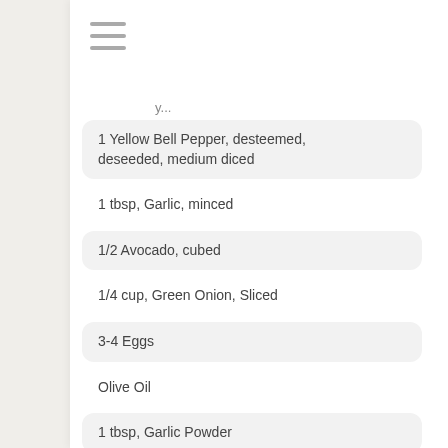[Figure (other): Hamburger menu icon (three horizontal lines)]
1 Yellow Bell Pepper, desteemed, deseeded, medium diced
1 tbsp, Garlic, minced
1/2 Avocado, cubed
1/4 cup, Green Onion, Sliced
3-4 Eggs
Olive Oil
1 tbsp, Garlic Powder
1 tbsp, Chili Powder
Optional: Greek Yogurt and Salsa To top